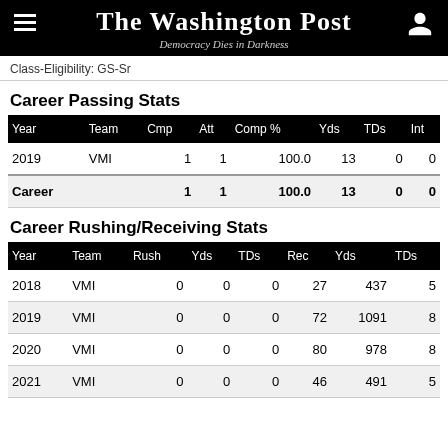The Washington Post
Democracy Dies in Darkness
Class-Eligibility: GS-Sr
Career Passing Stats
| Year | Team | Cmp | Att | Comp % | Yds | TDs | Int |
| --- | --- | --- | --- | --- | --- | --- | --- |
| 2019 | VMI | 1 | 1 | 100.0 | 13 | 0 | 0 |
| Career |  | 1 | 1 | 100.0 | 13 | 0 | 0 |
Career Rushing/Receiving Stats
| Year | Team | Rush | Yds | TDs | Rec | Yds | TDs |
| --- | --- | --- | --- | --- | --- | --- | --- |
| 2018 | VMI | 0 | 0 | 0 | 27 | 437 | 5 |
| 2019 | VMI | 0 | 0 | 0 | 72 | 1091 | 8 |
| 2020 | VMI | 0 | 0 | 0 | 80 | 978 | 8 |
| 2021 | VMI | 0 | 0 | 0 | 46 | 491 | 5 |